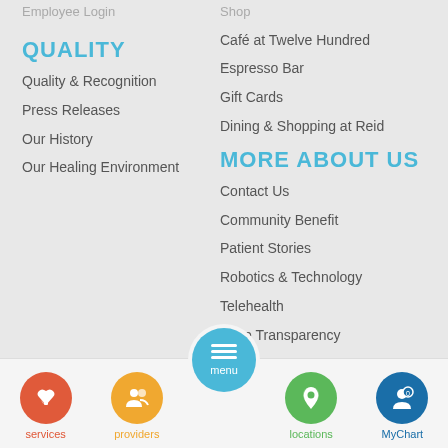Employee Login
QUALITY
Quality & Recognition
Press Releases
Our History
Our Healing Environment
Shop
Café at Twelve Hundred
Espresso Bar
Gift Cards
Dining & Shopping at Reid
MORE ABOUT US
Contact Us
Community Benefit
Patient Stories
Robotics & Technology
Telehealth
Price Transparency
Financial Services (Aid) Policies
No Surprise Billing
services | providers | menu | locations | MyChart